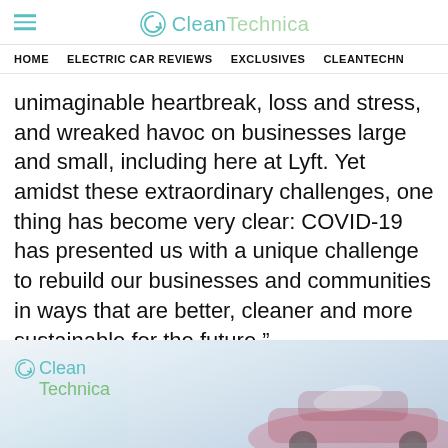CleanTechnica
HOME   ELECTRIC CAR REVIEWS   EXCLUSIVES   CLEANTECHN
unimaginable heartbreak, loss and stress, and wreaked havoc on businesses large and small, including here at Lyft. Yet amidst these extraordinary challenges, one thing has become very clear: COVID-19 has presented us with a unique challenge to rebuild our businesses and communities in ways that are better, cleaner and more sustainable for the future.”
[Figure (logo): CleanTechnica logo with teal and green text, and a small circular arrow icon, overlaid on a photo of a car with sky background]